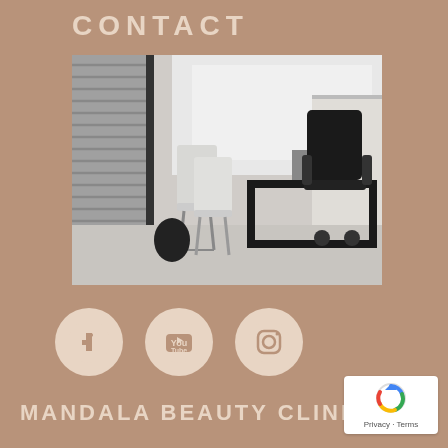CONTACT
[Figure (photo): Modern office interior with white chairs, a sleek desk, and a dark executive chair near large windows with horizontal blinds]
[Figure (infographic): Social media icons: Facebook, YouTube, and Instagram logos in cream-colored circles on tan background]
MANDALA BEAUTY CLINIC
[Figure (logo): reCAPTCHA badge with Google reCAPTCHA logo, Privacy and Terms links]